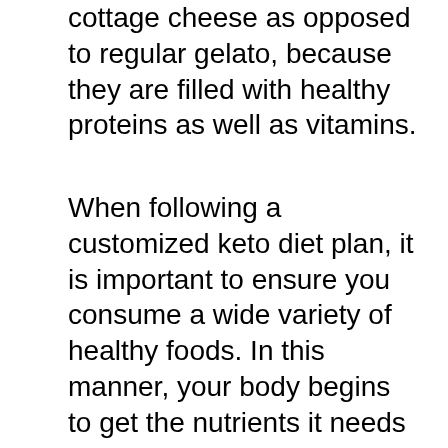cottage cheese as opposed to regular gelato, because they are filled with healthy proteins as well as vitamins.
When following a customized keto diet plan, it is important to ensure you consume a wide variety of healthy foods. In this manner, your body begins to get the nutrients it needs in the suitable quantities. As an example, if you are complying with a reduced carbohydrate diet regimen, then you ought to consume great deals of fruits and vegetables. A few other healthy and balanced foods you ought to eat consist of lean meats, fish, as well as tofu. These types of foods aid to clean your digestion system, so they are able to absorb as well as use nutrients better. Also, eating this way aids your body begins to melt fat